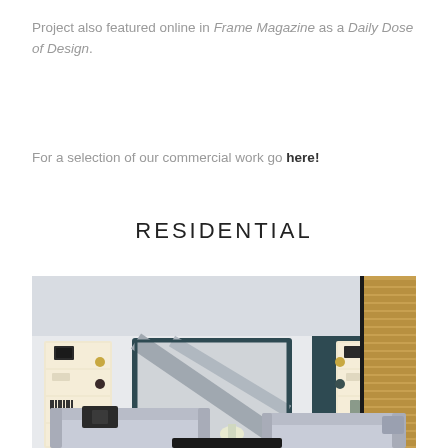Project also featured online in Frame Magazine as a Daily Dose of Design.
For a selection of our commercial work go here!
RESIDENTIAL
[Figure (photo): Interior photo of a luxurious residential living room featuring light grey sofas, a large framed artwork with teal border, built-in shelving units with warm lighting, dark teal walls, and tall wooden louvered shutters on large windows]